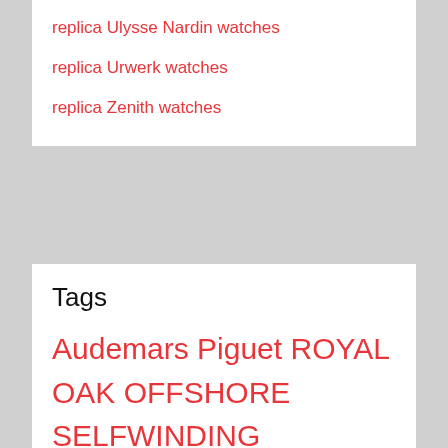replica Ulysse Nardin watches
replica Urwerk watches
replica Zenith watches
Tags
Audemars Piguet ROYAL OAK OFFSHORE SELFWINDING CHRONOGRAPH Watch Replica 26405CE.OO.A030CA.01 Breguet Marine 5817 Fake Watch 5817BA/12/9V8 Bremont JAGUAR MKII WHITE BJ-II/WH/R Bremont KINGSMAN ROSE GOLD BKM-RG Replica Watch Franck Muller Cintree Curvex Men Grande Date Replica Watch for Sale Cheap Price 8083 CC GD FO 5N B GRAHAM LONDON 2OVEVB15A CHRONOFIGHTER SUPERLIGHT RIVER…